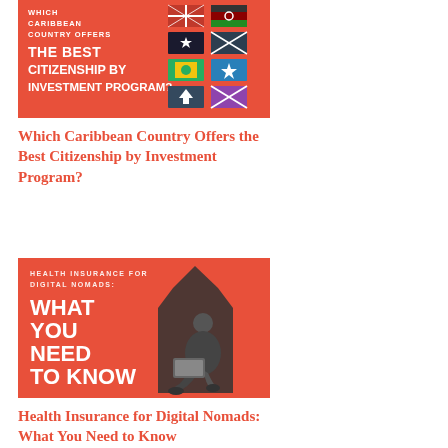[Figure (illustration): Salmon/coral colored banner with flags and text reading 'WHICH CARIBBEAN COUNTRY OFFERS THE BEST CITIZENSHIP BY INVESTMENT PROGRAM?']
Which Caribbean Country Offers the Best Citizenship by Investment Program?
[Figure (photo): Salmon/coral colored banner with person sitting using laptop, text reads 'HEALTH INSURANCE FOR DIGITAL NOMADS: WHAT YOU NEED TO KNOW']
Health Insurance for Digital Nomads: What You Need to Know
[Figure (illustration): Salmon/coral colored banner partially visible with text 'RECOMMENDED COUNTRIES FOR GETTING...']